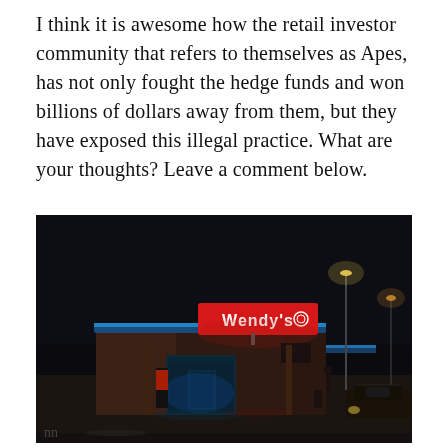I think it is awesome how the retail investor community that refers to themselves as Apes, has not only fought the hedge funds and won billions of dollars away from them, but they have exposed this illegal practice. What are your thoughts? Leave a comment below.
[Figure (photo): Nighttime photo of a Wendy's fast food restaurant exterior with illuminated red Wendy's sign, blue accent lighting on the canopy, and street lights visible in the dark background.]